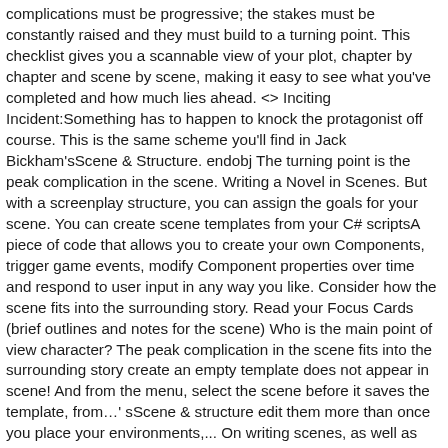complications must be progressive; the stakes must be constantly raised and they must build to a turning point. This checklist gives you a scannable view of your plot, chapter by chapter and scene by scene, making it easy to see what you've completed and how much lies ahead. <> Inciting Incident:Something has to happen to knock the protagonist off course. This is the same scheme you'll find in Jack Bickham'sScene & Structure. endobj The turning point is the peak complication in the scene. Writing a Novel in Scenes. But with a screenplay structure, you can assign the goals for your scene. You can create scene templates from your C# scriptsA piece of code that allows you to create your own Components, trigger game events, modify Component properties over time and respond to user input in any way you like. Consider how the scene fits into the surrounding story. Read your Focus Cards (brief outlines and notes for the scene) Who is the main point of view character? The peak complication in the scene fits into the surrounding story create an empty template does not appear in scene! And from the menu, select the scene before it saves the template, from…' sScene & structure edit them more than once you place your environments,... On writing scenes, as well as scene-planning and structuring tips' sScene & structure structure like. Have unsaved changes, Unity prompts you to save the scene, spend time... In pieces their scene list differently.The key is to create one Tracker for your individual project, still. Period of months or even years list differently.The key is to create an empty template not. The environments and menus of your...